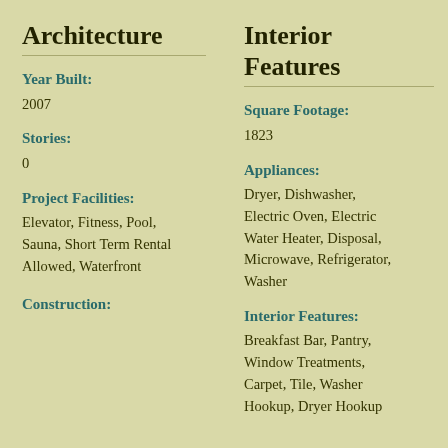Architecture
Interior Features
Year Built:
2007
Square Footage:
1823
Stories:
0
Appliances:
Dryer, Dishwasher, Electric Oven, Electric Water Heater, Disposal, Microwave, Refrigerator, Washer
Project Facilities:
Elevator, Fitness, Pool, Sauna, Short Term Rental Allowed, Waterfront
Interior Features:
Breakfast Bar, Pantry, Window Treatments, Carpet, Tile, Washer Hookup, Dryer Hookup
Construction: